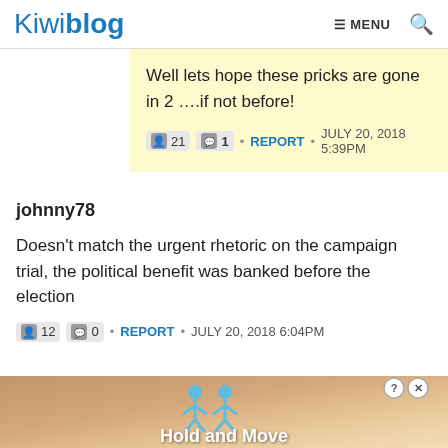Kiwiblog | MENU
Well lets hope these pricks are gone in 2 ….if not before!
21  1  •  REPORT  •  JULY 20, 2018 5:39PM
johnny78
Doesn't match the urgent rhetoric on the campaign trial, the political benefit was banked before the election
12  0  •  REPORT  •  JULY 20, 2018 6:04PM
[Figure (screenshot): Advertisement banner showing 'Hold and Move' with stick figures]